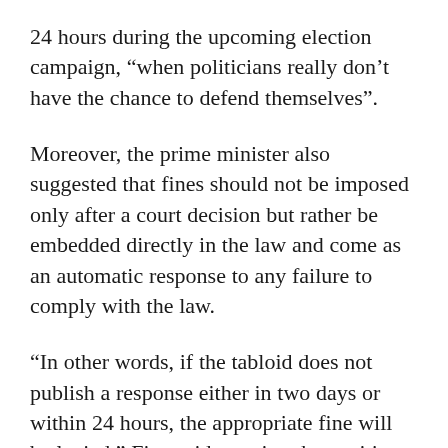24 hours during the upcoming election campaign, “when politicians really don’t have the chance to defend themselves”.
Moreover, the prime minister also suggested that fines should not be imposed only after a court decision but rather be embedded directly in the law and come as an automatic response to any failure to comply with the law.
“In other words, if the tabloid does not publish a response either in two days or within 24 hours, the appropriate fine will be levied,” Fico said, arguing that waiting for a court decision over a complaint might take two or three years.
The proposals are Fico’s response to a story run by